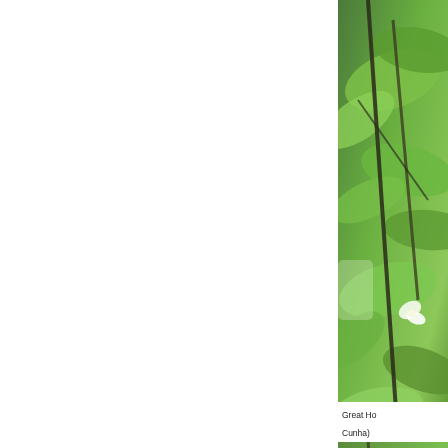[Figure (photo): Three stacked nature photographs showing green tropical leaves and branches with close-up botanical details, cropped on the right side of the page. Top image shows branches with green leaves and white flowers. Middle image shows overlapping green leaves with a small round fruit/berry. Bottom image shows green leaves with purple-tipped catkin-like flower spikes.]
Great Ho... Cunha)